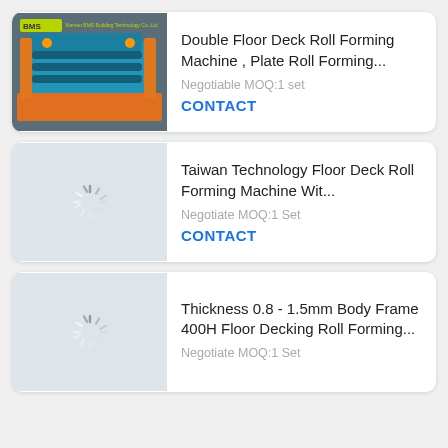[Figure (photo): Blue industrial Double Floor Deck Roll Forming Machine with orange colored metal sheets, BMS branding on top-left label]
Double Floor Deck Roll Forming Machine , Plate Roll Forming...
Negotiable MOQ:1 set
CONTACT
[Figure (photo): Loading spinner icon indicating image is loading]
Taiwan Technology Floor Deck Roll Forming Machine Wit...
Negotiate MOQ:1 Set
CONTACT
[Figure (photo): Loading spinner icon indicating image is loading]
Thickness 0.8 - 1.5mm Body Frame 400H Floor Decking Roll Forming...
Negotiate MOQ:1 Set